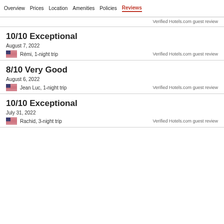Overview  Prices  Location  Amenities  Policies  Reviews
Verified Hotels.com guest review
10/10 Exceptional
August 7, 2022
Rémi, 1-night trip
Verified Hotels.com guest review
8/10 Very Good
August 6, 2022
Jean Luc, 1-night trip
Verified Hotels.com guest review
10/10 Exceptional
July 31, 2022
Rachid, 3-night trip
Verified Hotels.com guest review